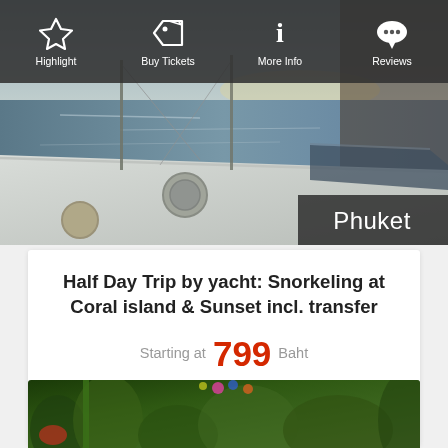Highlight | Buy Tickets | More Info | Reviews
[Figure (photo): Hero photo of a yacht deck at sea with water and sunlight visible, with a 'Phuket' location label overlay in the bottom right corner]
Half Day Trip by yacht: Snorkeling at Coral island & Sunset incl. transfer
Starting at 799 Baht
Read More
[Figure (photo): Bottom partial photo showing lush green tropical foliage and red/orange flowers, partially visible]